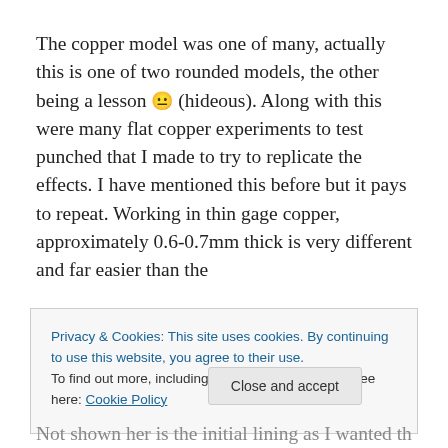The copper model was one of many, actually this is one of two rounded models, the other being a lesson 😐 (hideous). Along with this were many flat copper experiments to test punched that I made to try to replicate the effects. I have mentioned this before but it pays to repeat. Working in thin gage copper, approximately 0.6-0.7mm thick is very different and far easier than the
Privacy & Cookies: This site uses cookies. By continuing to use this website, you agree to their use. To find out more, including how to control cookies, see here: Cookie Policy
Close and accept
Not shown her is the initial lining as I wanted the stones to